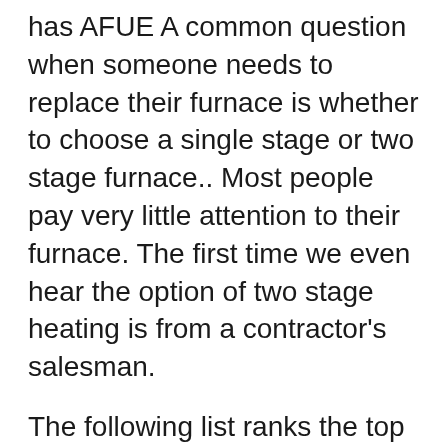has AFUE A common question when someone needs to replace their furnace is whether to choose a single stage or two stage furnace.. Most people pay very little attention to their furnace. The first time we even hear the option of two stage heating is from a contractor's salesman.
The following list ranks the top 10 furnace series from best to worst, based on the average of those consumer satisfaction ratings. FurnaceCompare.com has collected reviews on more than 90 brands and 450 different series of furnaces. However, we have only included a series on this list if we have at least 5